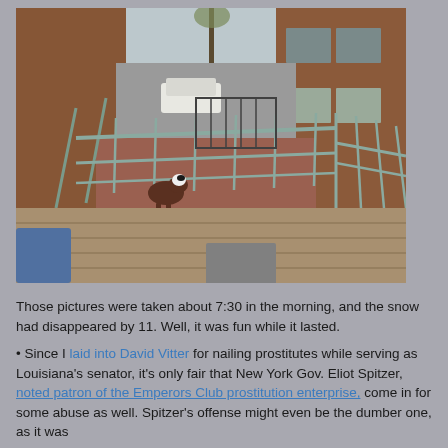[Figure (photo): Photo taken from a balcony/deck looking down into a courtyard between brick buildings. A dog (appears to be a Boston Terrier or similar) stands near metal railings. A white car is parked in the background. Wooden deck planks visible in foreground.]
Those pictures were taken about 7:30 in the morning, and the snow had disappeared by 11. Well, it was fun while it lasted.
• Since I laid into David Vitter for nailing prostitutes while serving as Louisiana's senator, it's only fair that New York Gov. Eliot Spitzer, noted patron of the Emperors Club prostitution enterprise, come in for some abuse as well. Spitzer's offense might even be the dumber one, as it was